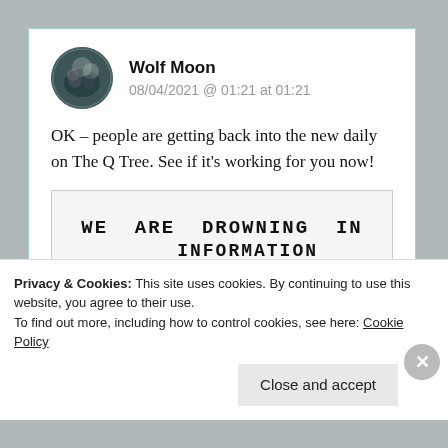Wolf Moon
08/04/2021 @ 01:21 at 01:21
OK – people are getting back into the new daily on The Q Tree. See if it's working for you now!
[Figure (photo): A marquee/letterboard sign reading: WE ARE DROWNING IN INFORMATION WHILE STARVING FOR...]
Privacy & Cookies: This site uses cookies. By continuing to use this website, you agree to their use. To find out more, including how to control cookies, see here: Cookie Policy
Close and accept